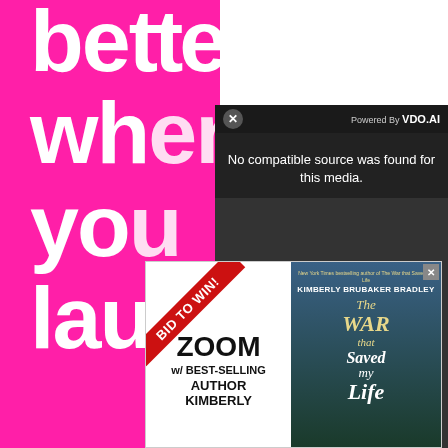[Figure (screenshot): Pink background with large white bold text reading 'better when you Lau' (partially visible/cropped)]
[Figure (screenshot): Video player overlay with dark background. Top bar shows close X button and 'Powered By VDO.AI'. Center shows 'No compatible source was found for this media.' message. Below shows video thumbnail with 'RIGHT TO REPAIR' text and a large X icon overlay.]
[Figure (screenshot): Advertisement: Left side has 'BID TO WIN!' diagonal red banner and text 'ZOOM w/ BEST-SELLING AUTHOR KIMBERLY'. Right side shows book cover 'The WAR that Saved my Life' by Kimberly Brubaker Bradley. Close X button top right.]